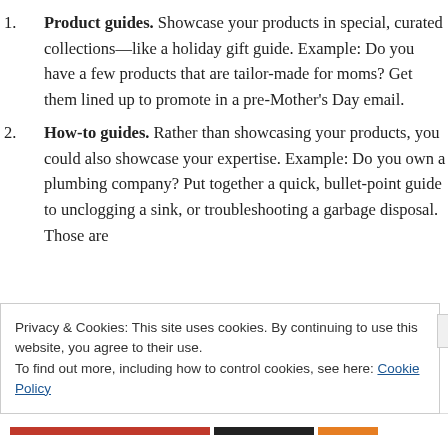Product guides. Showcase your products in special, curated collections—like a holiday gift guide. Example: Do you have a few products that are tailor-made for moms? Get them lined up to promote in a pre-Mother's Day email.
How-to guides. Rather than showcasing your products, you could also showcase your expertise. Example: Do you own a plumbing company? Put together a quick, bullet-point guide to unclogging a sink, or troubleshooting a garbage disposal. Those are
Privacy & Cookies: This site uses cookies. By continuing to use this website, you agree to their use.
To find out more, including how to control cookies, see here: Cookie Policy